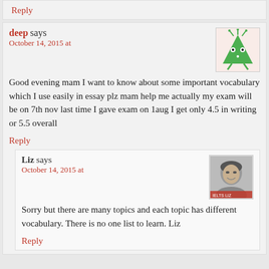Reply
deep says
October 14, 2015 at
[Figure (illustration): Green cartoon monster avatar icon]
Good evening mam I want to know about some important vocabulary which I use easily in essay plz mam help me actually my exam will be on 7th nov last time I gave exam on 1aug I get only 4.5 in writing or 5.5 overall
Reply
Liz says
October 14, 2015 at
[Figure (photo): Black and white photo of Liz with IELTS LIZ label]
Sorry but there are many topics and each topic has different vocabulary. There is no one list to learn. Liz
Reply